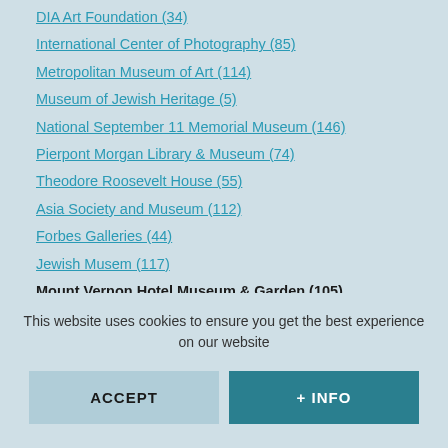DIA Art Foundation (34)
International Center of Photography (85)
Metropolitan Museum of Art (114)
Museum of Jewish Heritage (5)
National September 11 Memorial Museum (146)
Pierpont Morgan Library & Museum (74)
Theodore Roosevelt House (55)
Asia Society and Museum (112)
Forbes Galleries (44)
Jewish Musem (117)
Mount Vernon Hotel Museum & Garden (105)
Museum of Modern Art (95)
New Museum of Contemporary Art (35)
This website uses cookies to ensure you get the best experience on our website
ACCEPT
+ INFO